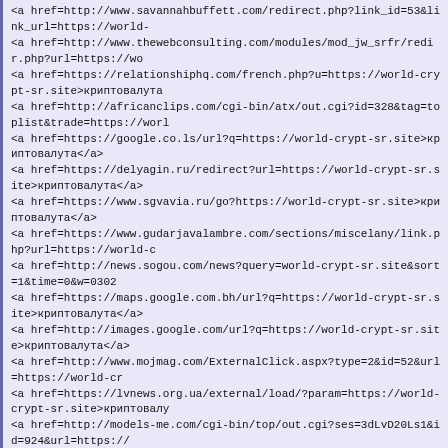<a href=http://www.savannahbuffett.com/redirect.php?link_id=53&link_url=https://world-
<a href=http://www.thewebconsulting.com/modules/mod_jw_srfr/redir.php?url=https://wo
<a href=https://relationshiphq.com/french.php?u=https://world-crypt-sr.site>криптовалута
<a href=http://africanclips.com/cgi-bin/atx/out.cgi?id=328&tag=toplist&trade=https://worl
<a href=https://google.co.ls/url?q=https://world-crypt-sr.site>криптовалута</a>
<a href=https://delyagin.ru/redirect?url=https://world-crypt-sr.site>криптовалута</a>
<a href=https://www.sgvavia.ru/go?https://world-crypt-sr.site>криптовалута</a>
<a href=https://www.gudarjavalambre.com/sections/miscelany/link.php?url=https://world-c
<a href=http://news.sogou.com/news?query=world-crypt-sr.site&sort=1&time=0&w=0302
<a href=https://maps.google.com.bh/url?q=https://world-crypt-sr.site>криптовалута</a>
<a href=http://images.google.com/url?q=https://world-crypt-sr.site>криптовалута</a>
<a href=http://www.mojmag.com/ExternalClick.aspx?type=2&id=52&url=https://world-cr
<a href=https://lvnews.org.ua/external/load/?param=https://world-crypt-sr.site>криптовалу
<a href=http://models-me.com/cgi-bin/top/out.cgi?ses=3dLvD20Ls1&id=924&url=https://
<a href=https://images.google.com.et/url?q=https://world-crypt-sr.site>криптовалута</a>
(22/05/04 19:07)
world-crypt-sr >
[url=https://world-crypt-sr.site]в коя криптовалута да инвестирам през 2021[/url]
Since the entry-way into pressure of the fresh Digital Assets Law in July 2021, more and m
Farm out's last what scrupulously this law means in tie-in to the cryptocurrency business.
<a href=https://world-crypt-sr.site>криптовалута етериум</a>
(22/05/04 19:14)
world-crypt-so >
[url=https://world-crypt-so.site]job in cryptocurrency[/url]
A nineteen-year-old aborigine of British Birmingham discovered the aptitude to buying cry
<a href=https://world-crypt-so.site>cryptocurrency exchange website</a>
(22/05/04 20:36)